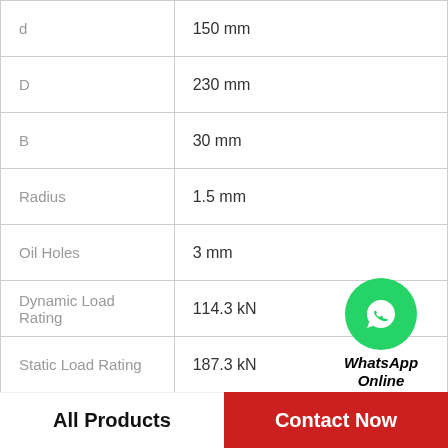| Parameter | Value |
| --- | --- |
| d | 150 mm |
| D | 230 mm |
| B | 30 mm |
| Radius | 1.5 mm |
| Oil Holes | 3 mm |
| Dynamic Load Rating | 114.3 kN |
| Static Load Rating | 187.3 kN |
| da | 181 mm |
[Figure (logo): WhatsApp Online badge with green circle icon and italic bold text 'WhatsApp Online']
All Products | Contact Now